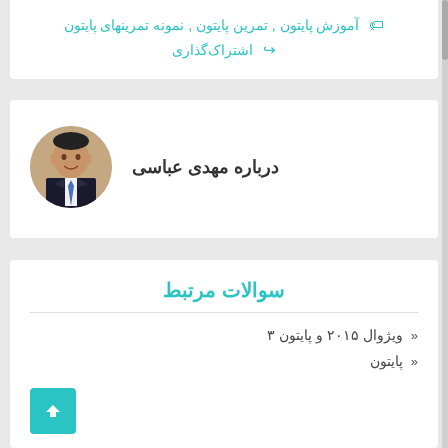آموزش پایتون , تمرین پایتون , نمونه تمرینهای پایتون
اشتراک‌گذاری
درباره مهدی عباسی
[Figure (photo): Circular profile photo of Mehdi Abbasi in a suit]
سوالات مرتبط
ویژوال ۲۰۱۵ و پایتون ۳
پایتون